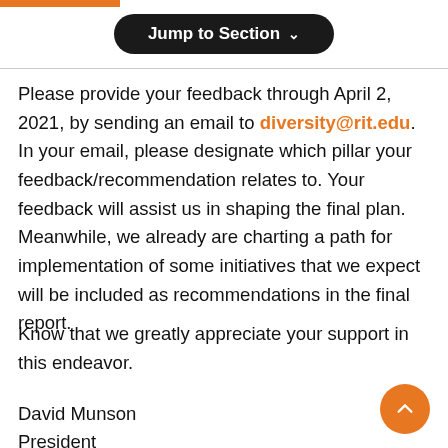Jump to Section
Please provide your feedback through April 2, 2021, by sending an email to diversity@rit.edu. In your email, please designate which pillar your feedback/recommendation relates to. Your feedback will assist us in shaping the final plan. Meanwhile, we already are charting a path for implementation of some initiatives that we expect will be included as recommendations in the final report.
Know that we greatly appreciate your support in this endeavor.
David Munson
President